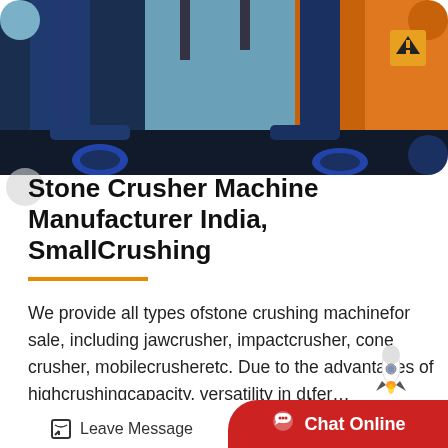[Figure (photo): Industrial stone crusher machinery photographed from below, showing heavy blue and orange mechanical equipment against a sky background.]
Stone Crusher Machine Manufacturer India, SmallCrushing
We provide all types of stone crushing machine for sale, including jaw crusher, impact crusher, cone crusher, mobile crusher etc. Due to the advantages of high crushing capacity, versatility in difer…
Leave Message  Chat Online